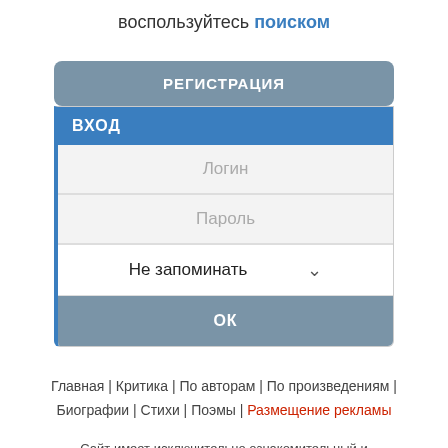воспользуйтесь поиском
[Figure (screenshot): Login form with РЕГИСТРАЦИЯ button, ВХОД panel containing Логин field, Пароль field, Не запоминать dropdown, and ОК button]
Главная | Критика | По авторам | По произведениям | Биографии | Стихи | Поэмы | Размещение рекламы
Сайт имеет исключительно ознакомительный и